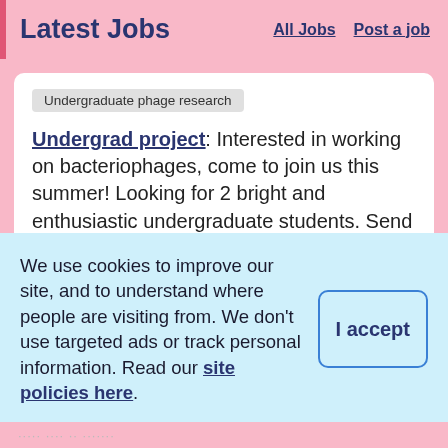Latest Jobs   All Jobs   Post a job
Undergraduate phage research
Undergrad project: Interested in working on bacteriophages, come to join us this summer! Looking for 2 bright and enthusiastic undergraduate students. Send your CV & transcript to
We use cookies to improve our site, and to understand where people are visiting from. We don't use targeted ads or track personal information. Read our site policies here.